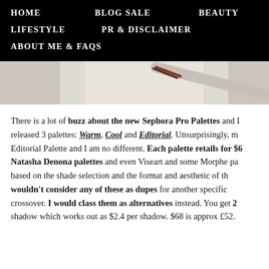HOME    BLOG SALE    BEAUTY    LIFESTYLE    PR & DISCLAIMER    ABOUT ME & FAQs
[Figure (photo): Partial photo of a makeup brush and palette on a white surface, cropped at the top.]
There is a lot of buzz about the new Sephora Pro Palettes and I released 3 palettes: Warm, Cool and Editorial. Unsurprisingly, m Editorial Palette and I am no different. Each palette retails for $6 Natasha Denona palettes and even Viseart and some Morphe pa based on the shade selection and the format and aesthetic of th wouldn't consider any of these as dupes for another specific crossover. I would class them as alternatives instead. You get 2 shadow which works out as $2.4 per shadow. $68 is approx £52.